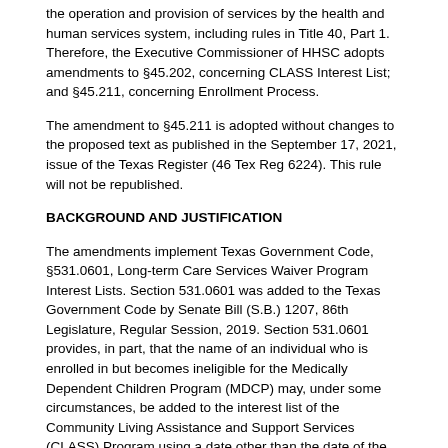the operation and provision of services by the health and human services system, including rules in Title 40, Part 1. Therefore, the Executive Commissioner of HHSC adopts amendments to §45.202, concerning CLASS Interest List; and §45.211, concerning Enrollment Process.
The amendment to §45.211 is adopted without changes to the proposed text as published in the September 17, 2021, issue of the Texas Register (46 Tex Reg 6224). This rule will not be republished.
BACKGROUND AND JUSTIFICATION
The amendments implement Texas Government Code, §531.0601, Long-term Care Services Waiver Program Interest Lists. Section 531.0601 was added to the Texas Government Code by Senate Bill (S.B.) 1207, 86th Legislature, Regular Session, 2019. Section 531.0601 provides, in part, that the name of an individual who is enrolled in but becomes ineligible for the Medically Dependent Children Program (MDCP) may, under some circumstances, be added to the interest list of the Community Living Assistance and Support Services (CLASS) Program using a date other than the date of the request as the